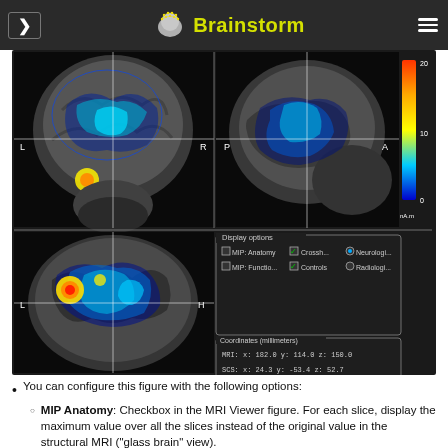[Figure (screenshot): Brainstorm application header/navigation bar with logo showing a brain with electrode mesh and yellow 'Brainstorm' text on dark background]
[Figure (screenshot): MRI Viewer in Brainstorm showing three brain slices (coronal, sagittal, axial) with functional overlay in blue-yellow-red colormap. Display options panel shows checkboxes for MIP Anatomy, MIP Functional, Crosshairs, Controls, Neurological, Radiological modes. Coordinates panel shows MRI x:182.0 y:114.0 z:150.0, SCS x:24.3 y:-53.4 z:52.7, MNI x:55.8 y:-4.1 z:4.3. Color scale from 0 to 20 nA.m shown on right.]
You can configure this figure with the following options:
MIP Anatomy: Checkbox in the MRI Viewer figure. For each slice, display the maximum value over all the slices instead of the original value in the structural MRI ("glass brain" view).
MIP Functional: Same as for MIP Anatomy, but with the